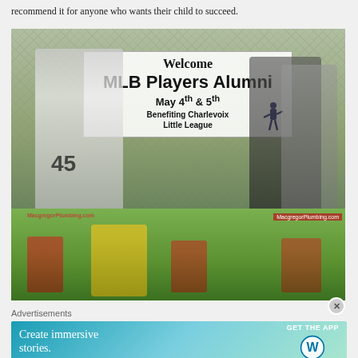recommend it for anyone who wants their child to succeed.
[Figure (photo): Two-panel sports photo. Top: Adults near a banner reading 'Welcome MLB Players Alumni May 4th & 5th Benefiting Charlevoix Little League' at a baseball field with chain-link fence. A player wearing jersey #45 is visible. Watermark: minoringinbaseball.com. Bottom: Children in baseball uniforms playing on a green field; a boy in yellow shirt is throwing a ball. A red MacGregorPlumbing.com banner is visible.]
Advertisements
[Figure (screenshot): WordPress advertisement banner with teal/green gradient background. Left side shows text 'Create immersive stories.' Right side shows 'GET THE APP' with WordPress circular logo.]